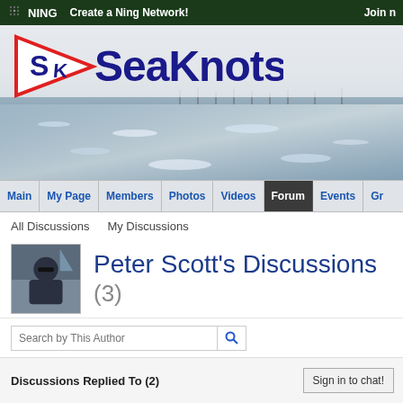NING   Create a Ning Network!   Join n
[Figure (logo): SeaKnots sailing club logo with a pennant flag containing an S and K, with 'SeaKnots' text in dark blue, over a marina/ocean background photo]
Main | My Page | Members | Photos | Videos | Forum | Events | Gr
All Discussions   My Discussions
Peter Scott's Discussions (3)
Search by This Author
Discussions Replied To (2)   Sign in to chat!